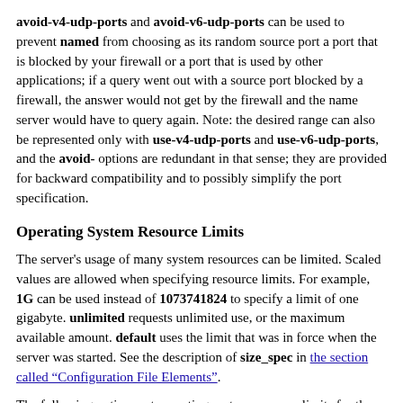avoid-v4-udp-ports and avoid-v6-udp-ports can be used to prevent named from choosing as its random source port a port that is blocked by your firewall or a port that is used by other applications; if a query went out with a source port blocked by a firewall, the answer would not get by the firewall and the name server would have to query again. Note: the desired range can also be represented only with use-v4-udp-ports and use-v6-udp-ports, and the avoid- options are redundant in that sense; they are provided for backward compatibility and to possibly simplify the port specification.
Operating System Resource Limits
The server's usage of many system resources can be limited. Scaled values are allowed when specifying resource limits. For example, 1G can be used instead of 1073741824 to specify a limit of one gigabyte. unlimited requests unlimited use, or the maximum available amount. default uses the limit that was in force when the server was started. See the description of size_spec in the section called "Configuration File Elements".
The following options set operating system resource limits for the name server process. Some operating systems don't support some or any of the limits. On such systems, a warning will be issued if